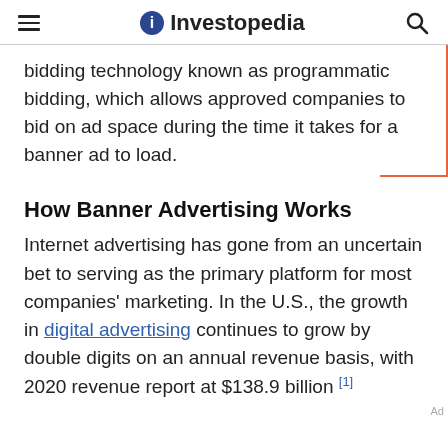Investopedia
bidding technology known as programmatic bidding, which allows approved companies to bid on ad space during the time it takes for a banner ad to load.
How Banner Advertising Works
Internet advertising has gone from an uncertain bet to serving as the primary platform for most companies' marketing. In the U.S., the growth in digital advertising continues to grow by double digits on an annual revenue basis, with 2020 revenue report at $138.9 billion [1]